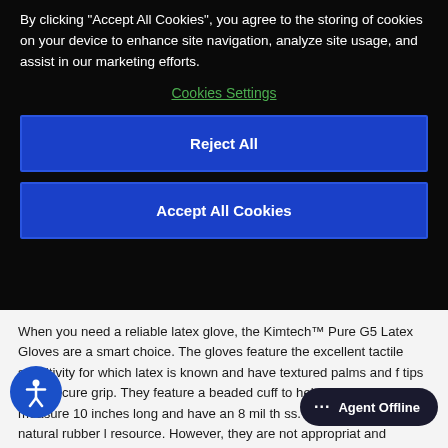By clicking "Accept All Cookies", you agree to the storing of cookies on your device to enhance site navigation, analyze site usage, and assist in our marketing efforts.
Cookies Settings
Reject All
Accept All Cookies
When you need a reliable latex glove, the Kimtech™ Pure G5 Latex Gloves are a smart choice. The gloves feature the excellent tactile sensitivity for which latex is known and have textured palms and fingertips for a secure grip. They feature a beaded cuff to help prevent roll-down, measure 10 inches long and have an 8 mil thickness. They are made with natural rubber latex, a renewable resource. However, they are not appropriate for scientists and technicians with latex allergies. Whether you need a latex
Agent Offline